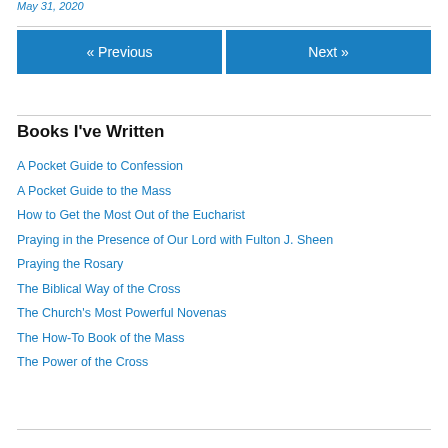May 31, 2020
« Previous | Next »
Books I've Written
A Pocket Guide to Confession
A Pocket Guide to the Mass
How to Get the Most Out of the Eucharist
Praying in the Presence of Our Lord with Fulton J. Sheen
Praying the Rosary
The Biblical Way of the Cross
The Church's Most Powerful Novenas
The How-To Book of the Mass
The Power of the Cross